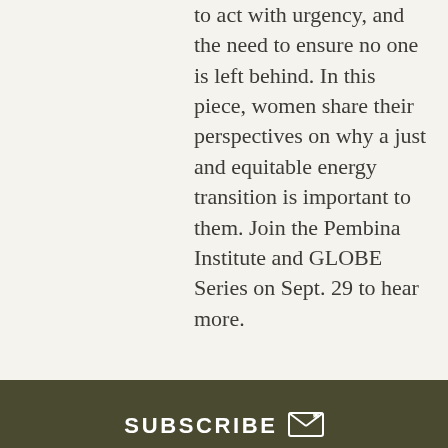to act with urgency, and the need to ensure no one is left behind. In this piece, women share their perspectives on why a just and equitable energy transition is important to them. Join the Pembina Institute and GLOBE Series on Sept. 29 to hear more.
SUBSCRIBE